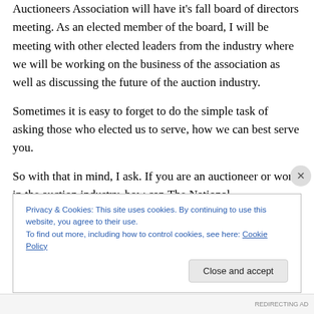Auctioneers Association will have it's fall board of directors meeting. As an elected member of the board, I will be meeting with other elected leaders from the industry where we will be working on the business of the association as well as discussing the future of the auction industry.
Sometimes it is easy to forget to do the simple task of asking those who elected us to serve, how we can best serve you.
So with that in mind, I ask. If you are an auctioneer or work in the auction industry, how can The National
Privacy & Cookies: This site uses cookies. By continuing to use this website, you agree to their use.
To find out more, including how to control cookies, see here: Cookie Policy
Close and accept
REDIRECTING AD